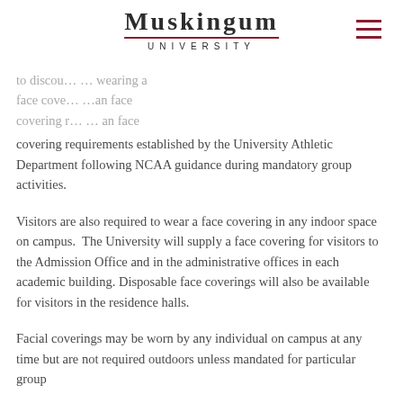Muskingum University
covering requirements established by the University Athletic Department following NCAA guidance during mandatory group activities.
Visitors are also required to wear a face covering in any indoor space on campus.  The University will supply a face covering for visitors to the Admission Office and in the administrative offices in each academic building. Disposable face coverings will also be available for visitors in the residence halls.
Facial coverings may be worn by any individual on campus at any time but are not required outdoors unless mandated for particular group